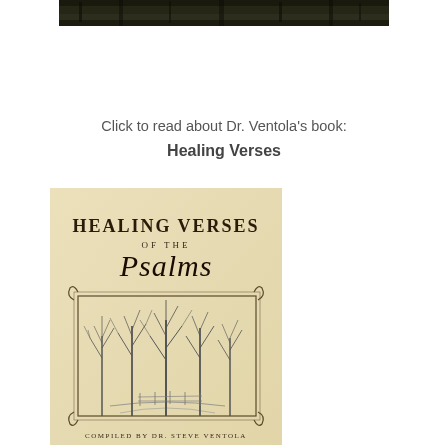[Figure (photo): Top portion of a forest/trees photo, cropped at top of page]
Click to read about Dr. Ventola's book:
Healing Verses
[Figure (illustration): Book cover of 'Healing Verses of the Psalms' compiled by Dr. Steve Ventola, featuring a parchment-colored background with the title text and a pencil sketch illustration of bare winter trees along a path, with decorative corner flourishes]